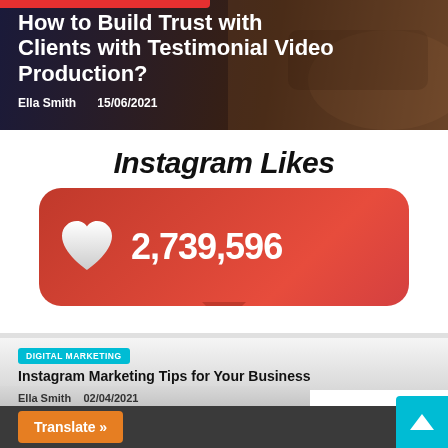[Figure (screenshot): Blog post card with dark background showing article title 'How to Build Trust with Clients with Testimonial Video Production?' by Ella Smith dated 15/06/2021]
Instagram Likes
[Figure (screenshot): Red rounded card showing heart icon and number 2,739,596 representing Instagram likes]
DIGITAL MARKETING
Instagram Marketing Tips for Your Business
Ella Smith   02/04/2021
Translate »